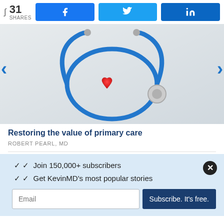31 SHARES
[Figure (photo): A blue stethoscope with a red heart-shaped object, on a gray-white background. Medical/healthcare themed image.]
Restoring the value of primary care
ROBERT PEARL, MD
Join 150,000+ subscribers
Get KevinMD's most popular stories